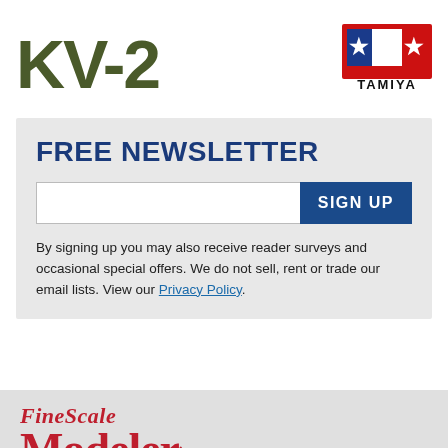[Figure (logo): KV-2 title text in dark olive/military green bold font, and Tamiya logo (red, white, blue star design) to the right]
FREE NEWSLETTER
By signing up you may also receive reader surveys and occasional special offers. We do not sell, rent or trade our email lists. View our Privacy Policy.
[Figure (logo): FineScale Modeler logo - FineScale in serif, Modeler in large red bold serif, tagline The essential tool for model builders]
FORUMS    VIDEOS